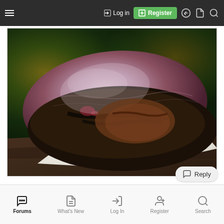Log in | Register
[Figure (photo): A large smoked or grilled piece of meat (appears to be a brisket or similar cut) with a dark bark/crust on the bottom and purplish-pink color on top, resting on white butcher paper on a wooden surface. Yellow flowers and green foliage are visible in the blurred background.]
Forums | What's New | Log In | Register | Search